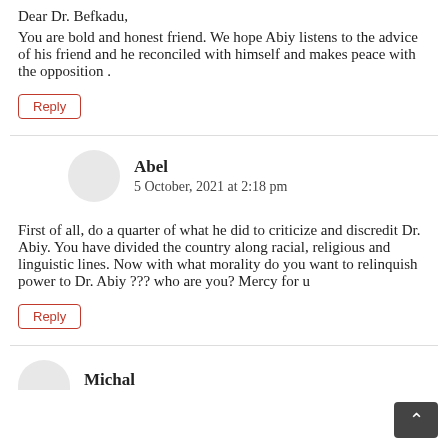Dear Dr. Befkadu,
You are bold and honest friend. We hope Abiy listens to the advice of his friend and he reconciled with himself and makes peace with the opposition .
Reply
Abel
5 October, 2021 at 2:18 pm
First of all, do a quarter of what he did to criticize and discredit Dr. Abiy. You have divided the country along racial, religious and linguistic lines. Now with what morality do you want to relinquish power to Dr. Abiy ??? who are you? Mercy for u
Reply
Michal